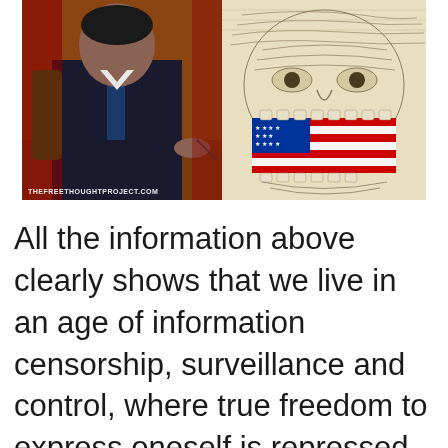[Figure (illustration): Composite image: left half shows a man in a dark suit and blue tie appearing to sign a document; right half shows a stylized illustration of Uncle Sam figure with an American flag-patterned mouth/gag. Watermark reads THEFREETHOUGHTPROJECT.COM]
All the information above clearly shows that we live in an age of information censorship, surveillance and control, where true freedom to express oneself is repressed by giant corporations that collude with the government